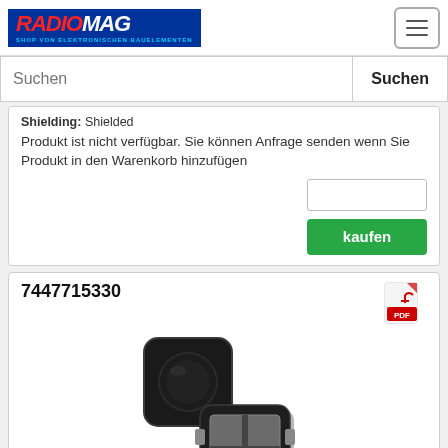[Figure (logo): Radiomag logo - shop for electronic components]
Suchen
Shielding: Shielded
Produkt ist nicht verfügbar. Sie können Anfrage senden wenn Sie Produkt in den Warenkorb hinzufügen
kaufen
7447715330
[Figure (photo): Two black square shielded SMD inductors (Würth Elektronik), one showing top and one showing bottom with metal contacts]
Hersteller: Würth Elektronik